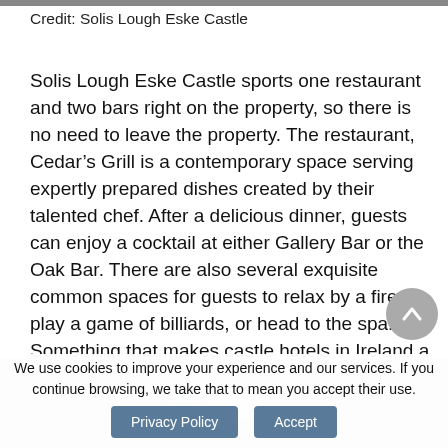Credit: Solis Lough Eske Castle
Solis Lough Eske Castle sports one restaurant and two bars right on the property, so there is no need to leave the property. The restaurant, Cedar’s Grill is a contemporary space serving expertly prepared dishes created by their talented chef. After a delicious dinner, guests can enjoy a cocktail at either Gallery Bar or the Oak Bar. There are also several exquisite common spaces for guests to relax by a fire, play a game of billiards, or head to the spa. Something that makes castle hotels in Ireland a
sought-after experience.
We use cookies to improve your experience and our services. If you continue browsing, we take that to mean you accept their use.